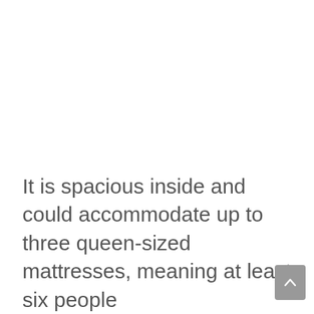It is spacious inside and could accommodate up to three queen-sized mattresses, meaning at least six people